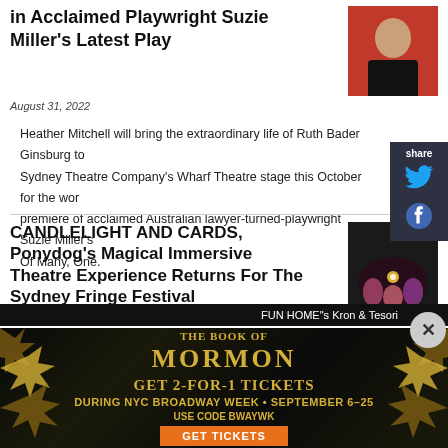in Acclaimed Playwright Suzie Miller's Latest Play
August 31, 2022
[Figure (photo): Portrait of a person in dark clothing against a red background]
Heather Mitchell will bring the extraordinary life of Ruth Bader Ginsburg to Sydney Theatre Company's Wharf Theatre stage this October for the world premiere of acclaimed Australian lawyer-turned-playwright Suzie Miller's Of Many, One.
CANDLELIGHT AND CARDS, Ponydog's Magical Immersive Theatre Experience Returns For The Sydney Fringe Festival
August 31, 2022
[Figure (photo): Dark theatrical scene with performers around a table with candlelight]
[Figure (screenshot): Share sidebar with Twitter and Facebook icons]
FUN HOME"s Kron & Tesori
[Figure (infographic): Advertisement: The Book of Mormon - Get 2-for-1 Tickets during NYC Broadway Week, September 6-25. Use Code BWAYWK. Get Tickets.]